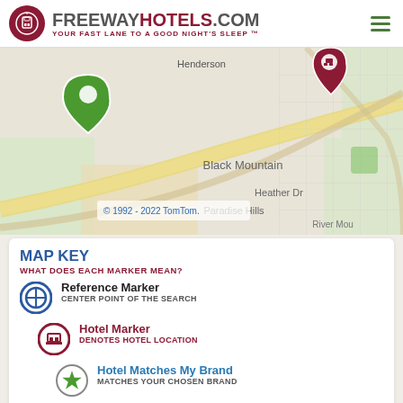FREEWAYHOTELS.COM YOUR FAST LANE TO A GOOD NIGHT'S SLEEP™
[Figure (map): Map showing Henderson area with Black Mountain, Heather Dr, Paradise Hills, River Mou labels. Two map markers visible — a green reference marker and a red hotel marker. © 1992 - 2022 TomTom.]
MAP KEY — WHAT DOES EACH MARKER MEAN?
Reference Marker — CENTER POINT OF THE SEARCH
Hotel Marker — DENOTES HOTEL LOCATION
Hotel Matches My Brand — MATCHES YOUR CHOSEN BRAND
Matches All My Amenities — HOTEL HAS ALL YOUR CHOSEN AMENITIES
Nearby Freeway Exits — RADIUS OF 20-MILES CITY/35-MILES RURAL